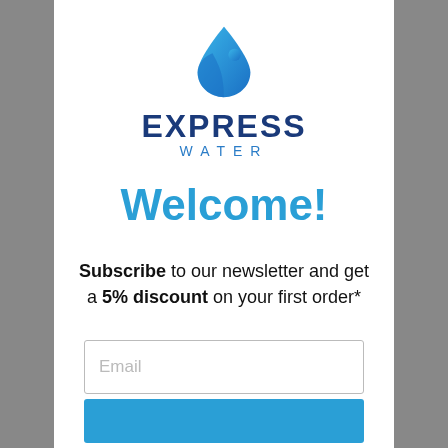[Figure (logo): Express Water logo: a blue water drop icon with a curved stream, above the text EXPRESS WATER in dark blue and light blue.]
Welcome!
Subscribe to our newsletter and get a 5% discount on your first order*